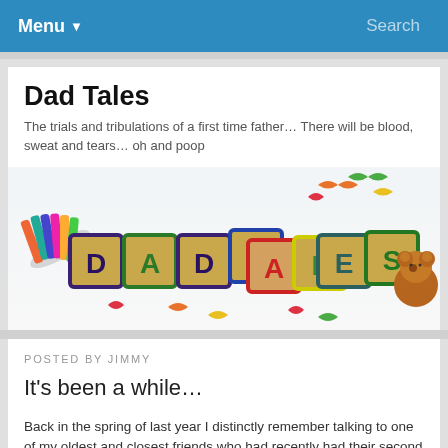Menu ▾   Search
Dad Tales
The trials and tribulations of a first time father… There will be blood, sweat and tears… oh and poop
[Figure (photo): Banner image showing colorful wooden alphabet blocks spelling out DADTALES with a teddy bear and crayons and colorful bird decorations on a white background]
POSTED BY JIMMY
It's been a while…
Back in the spring of last year I distinctly remember talking to one of my oldest and closest friends who had recently had their second child. It starting having all these doubts about how difficult it was with